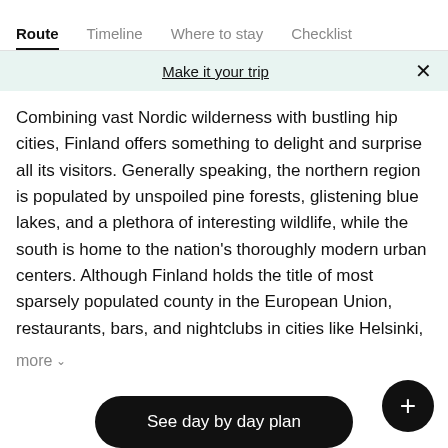Route  Timeline  Where to stay  Checklist
Make it your trip
Combining vast Nordic wilderness with bustling hip cities, Finland offers something to delight and surprise all its visitors. Generally speaking, the northern region is populated by unspoiled pine forests, glistening blue lakes, and a plethora of interesting wildlife, while the south is home to the nation's thoroughly modern urban centers. Although Finland holds the title of most sparsely populated county in the European Union, restaurants, bars, and nightclubs in cities like Helsinki,
more
See day by day plan